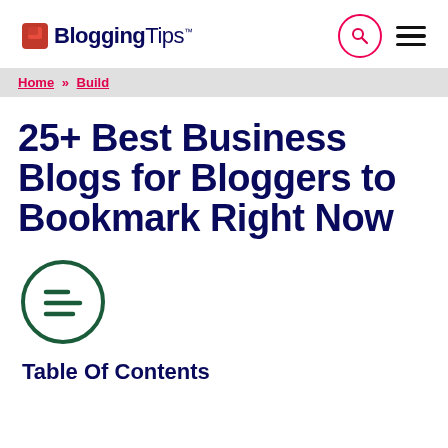BloggingTips
Home » Build
25+ Best Business Blogs for Bloggers to Bookmark Right Now
[Figure (illustration): Table of contents toggle icon — a dark green circle containing three horizontal lines resembling a list/menu icon]
Table Of Contents